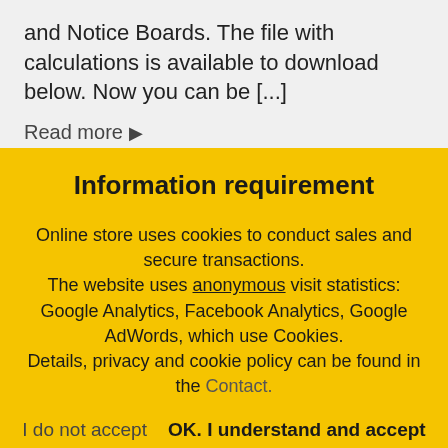and Notice Boards. The file with calculations is available to download below. Now you can be [...]
Read more →
Information requirement
Online store uses cookies to conduct sales and secure transactions. The website uses anonymous visit statistics: Google Analytics, Facebook Analytics, Google AdWords, which use Cookies. Details, privacy and cookie policy can be found in the Contact.
I do not accept   OK. I understand and accept